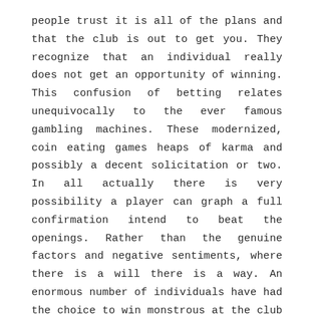people trust it is all of the plans and that the club is out to get you. They recognize that an individual really does not get an opportunity of winning. This confusion of betting relates unequivocally to the ever famous gambling machines. These modernized, coin eating games heaps of karma and possibly a decent solicitation or two. In all actually there is very possibility a player can graph a full confirmation intend to beat the openings. Rather than the genuine factors and negative sentiments, where there is a will there is a way. An enormous number of individuals have had the choice to win monstrous at the club by playing wagering machines. As the matter of web betting keeps expanding, able techniques have been proposed to manufacture the chances against online gaming machines.
Wagering machines have been a club commonly revered for different years at this point. The reasons are evidently self-